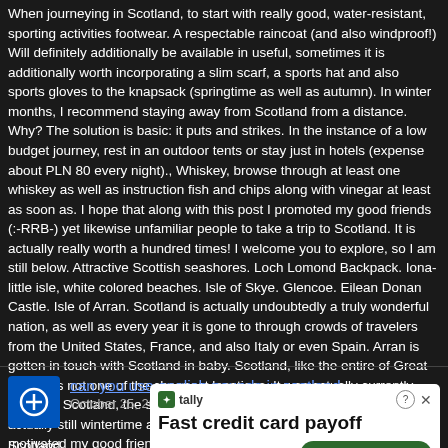When journeying in Scotland, to start with really good, water-resistant, sporting activities footwear. A respectable raincoat (and also windproof!) Will definitely additionally be available in useful, sometimes it is additionally worth incorporating a slim scarf, a sports hat and also sports gloves to the knapsack (springtime as well as autumn). In winter months, I recommend staying away from Scotland from a distance. Why? The solution is basic: it puts and strikes. In the instance of a low budget journey, rest in an outdoor tents or stay just in hotels (expense about PLN 80 every night)., Whiskey, browse through at least one whiskey as well as instruction fish and chips along with vinegar at least as soon as. I hope that along with this post I promoted my good friends (:-RRB-) yet likewise unfamiliar people to take a trip to Scotland. It is actually really worth a hundred times! I welcome you to explore, so I am still below. Attractive Scottish seashores. Loch Lomond Backpack. Iona- little isle, white colored beaches. Isle of Skye. Glencoe. Eilean Donan Castle. Isle of Arran. Scotland is actually undoubtedly a truly wonderful nation, as well as every year it is gone to through crowds of travelers from the United States, France, and also Italy or even Spain. Arran is gotten in touch with Scotland in baby. Scotland, like the entire of Great Britain, is not one of the cheapest locations. It was actually currently spring in Scotland, the sunlight was heating up, while in Scotland it was actually still wintertime all over. I really hope that with this post I motivated my good friends (:-RRB-) however also unfamiliar people to travel to https://www.scotland.com/
can you use english pounds in scotland
October 25, 2020 at 3:41 am
Scotland ... year it is explored ... as well as
[Figure (screenshot): Advertisement overlay for Tally - Fast credit card payoff with Download Now button]